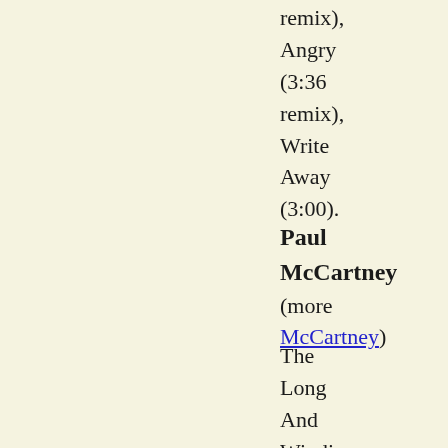remix), Angry (3:36 remix), Write Away (3:00).
Paul McCartney (more McCartney)
The Long And Winding Road (12" 45, PS) / 1990 /